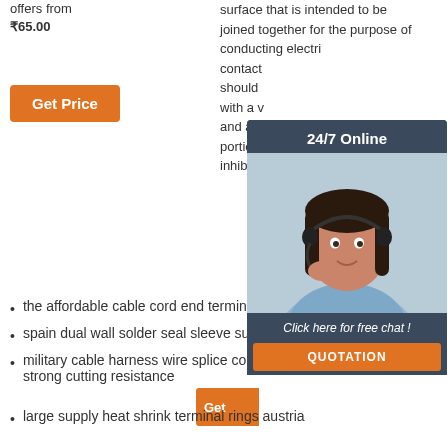offers from
₹65.00
Get Price
surface that is intended to be joined together for the purpose of conducting electrical contact should be with a v and a d portion inhibito
[Figure (other): 24/7 Online chat widget with female agent wearing headset, dark blue background, orange QUOTATION button and 'Click here for free chat!' text]
Get
the affordable cable cord end terminal merchant
spain dual wall solder seal sleeve supplier
military cable harness wire splice connector butt strong cutting resistance
large supply heat shrink terminal rings austria
[Figure (other): TOP logo with orange dot-triangle above the word TOP in orange bold text]